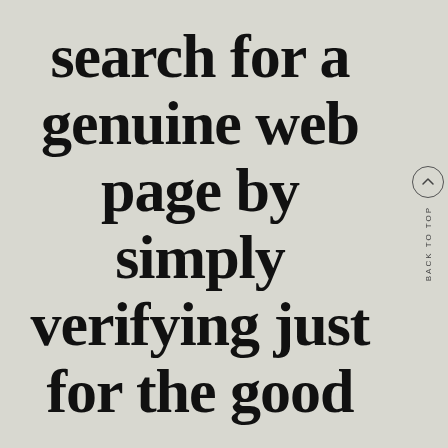search for a genuine web page by simply verifying just for the good
BACK TO TOP